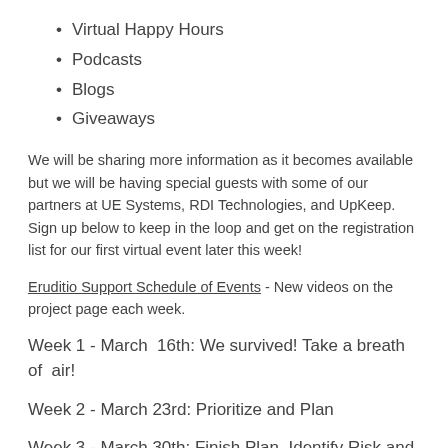Virtual Happy Hours
Podcasts
Blogs
Giveaways
We will be sharing more information as it becomes available but we will be having special guests with some of our partners at UE Systems, RDI Technologies, and UpKeep. Sign up below to keep in the loop and get on the registration list for our first virtual event later this week!
Eruditio Support Schedule of Events - New videos on the project page each week.
Week 1 - March  16th: We survived! Take a breath of  air!
Week 2 - March 23rd: Prioritize and Plan
Week 3 - March 30th: Finish Plan, Identify Risk and